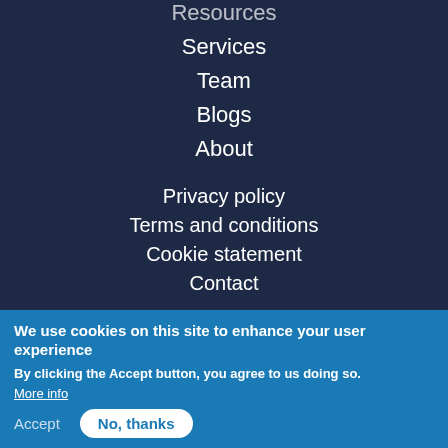Resources
Services
Team
Blogs
About
Privacy policy
Terms and conditions
Cookie statement
Contact
We use cookies on this site to enhance your user experience
By clicking the Accept button, you agree to us doing so.
More info
Accept
No, thanks